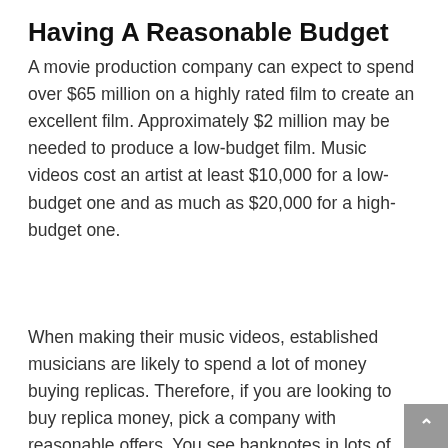Having A Reasonable Budget
A movie production company can expect to spend over $65 million on a highly rated film to create an excellent film. Approximately $2 million may be needed to produce a low-budget film. Music videos cost an artist at least $10,000 for a low-budget one and as much as $20,000 for a high-budget one.
When making their music videos, established musicians are likely to spend a lot of money buying replicas. Therefore, if you are looking to buy replica money, pick a company with reasonable offers. You see banknotes in lots of music videos and movies, but they only make up a